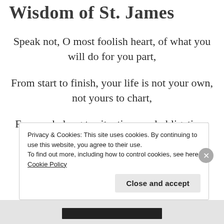Wisdom of St. James
Speak not, O most foolish heart, of what you will do for you part,
From start to finish, your life is not your own, not yours to chart,
For you belong to situations and obligations and so many actions.
Privacy & Cookies: This site uses cookies. By continuing to use this website, you agree to their use.
To find out more, including how to control cookies, see here: Cookie Policy
Close and accept